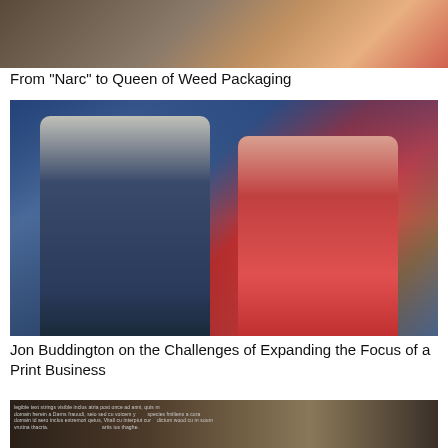[Figure (photo): Partial photo showing a person in a dark jacket at the top, cropped]
From "Narc" to Queen of Weed Packaging
[Figure (photo): Two people standing in front of a colorful Times Square backdrop — a man in a dark suit jacket on the left and a woman in a red sleeveless top on the right]
Jon Buddington on the Challenges of Expanding the Focus of a Print Business
[Figure (photo): Partial photo of a document or paper with text, photographed at an angle under dim lighting]